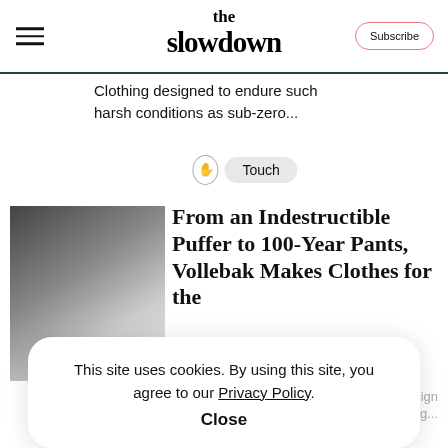the slowdown — Subscribe
Clothing designed to endure such harsh conditions as sub-zero...
[Figure (other): Touch badge with hand icon and pill label]
[Figure (photo): Grayscale product thumbnail image]
From an Indestructible Puffer to 100-Year Pants, Vollebak Makes Clothes for the
their garments based on meeting...
This site uses cookies. By using this site, you agree to our Privacy Policy. Close